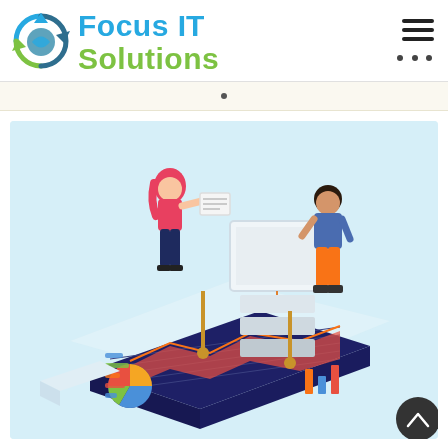[Figure (logo): Focus IT Solutions logo with circular recycling-style arrows icon in blue/green and teal text reading 'Focus IT Solutions']
[Figure (illustration): Isometric illustration on light blue background showing two people working with IT/data equipment: a woman with red hair holding a clipboard/whiteboard on the left, a man in blue shirt and orange pants interacting with a desktop computer setup on the right, with a large dark navy dashboard/tablet in the foreground showing charts, graphs, pie chart and bar charts]